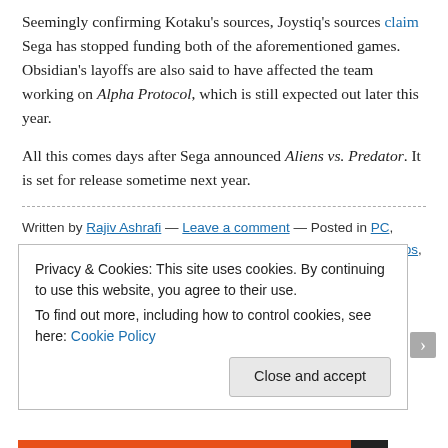Seemingly confirming Kotaku's sources, Joystiq's sources claim Sega has stopped funding both of the aforementioned games. Obsidian's layoffs are also said to have affected the team working on Alpha Protocol, which is still expected out later this year.
All this comes days after Sega announced Aliens vs. Predator. It is set for release sometime next year.
Written by Rajiv Ashrafi — Leave a comment — Posted in PC, PS3, Xbox 360 — Tagged with action, aliens, colonial marines, fps, gearbox, obsidian, rpg, sega
FEBRUARY 13, 2009
Mario & Sonic at the Winter
Privacy & Cookies: This site uses cookies. By continuing to use this website, you agree to their use.
To find out more, including how to control cookies, see here: Cookie Policy
Close and accept